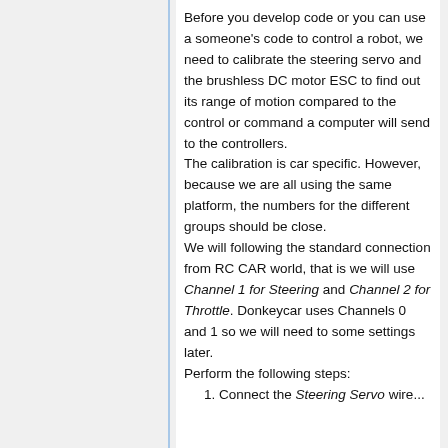Before you develop code or you can use a someone's code to control a robot, we need to calibrate the steering servo and the brushless DC motor ESC to find out its range of motion compared to the control or command a computer will send to the controllers.
The calibration is car specific. However, because we are all using the same platform, the numbers for the different groups should be close.
We will following the standard connection from RC CAR world, that is we will use Channel 1 for Steering and Channel 2 for Throttle. Donkeycar uses Channels 0 and 1 so we will need to some settings later.
Perform the following steps:
1. Connect the Steering Servo wire...